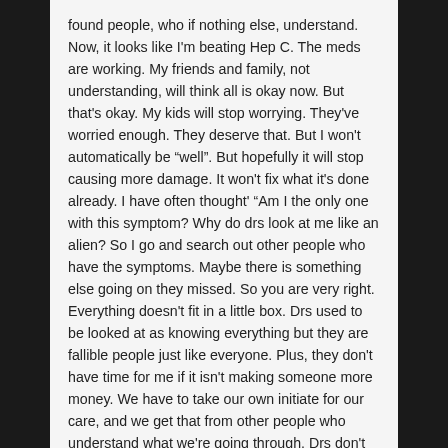found people, who if nothing else, understand. Now, it looks like I'm beating Hep C. The meds are working. My friends and family, not understanding, will think all is okay now. But that's okay. My kids will stop worrying. They've worried enough. They deserve that. But I won't automatically be "well". But hopefully it will stop causing more damage. It won't fix what it's done already. I have often thought' "Am I the only one with this symptom? Why do drs look at me like an alien? So I go and search out other people who have the symptoms. Maybe there is something else going on they missed. So you are very right. Everything doesn't fit in a little box. Drs used to be looked at as knowing everything but they are fallible people just like everyone. Plus, they don't have time for me if it isn't making someone more money. We have to take our own initiate for our care, and we get that from other people who understand what we're going through. Drs don't really know what it's like.